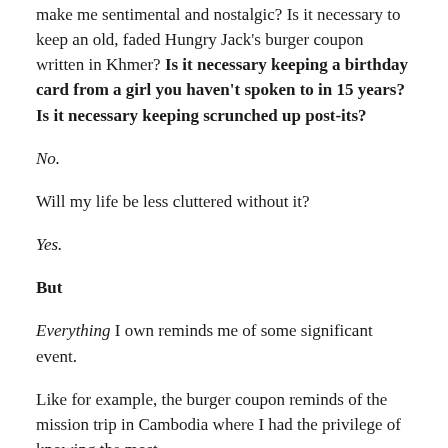make me sentimental and nostalgic? Is it necessary to keep an old, faded Hungry Jack's burger coupon written in Khmer? Is it necessary keeping a birthday card from a girl you haven't spoken to in 15 years? Is it necessary keeping scrunched up post-its?
No.
Will my life be less cluttered without it?
Yes.
But
Everything I own reminds me of some significant event.
Like for example, the burger coupon reminds of the mission trip in Cambodia where I had the privilege of knowing the most